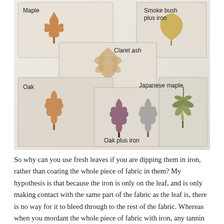[Figure (photo): A photograph of fabric swatches showing eco-print leaf impressions on white fabric. Labels identify: Maple (top left), Smoke bush plus iron (top right), Claret ash (center top), Oak (lower left), Oak plus iron (center bottom, showing purple/grey leaf prints), Japanese maple (lower right, showing a spiky green leaf print).]
So why can you use fresh leaves if you are dipping them in iron, rather than coating the whole piece of fabric in them? My hypothesis is that because the iron is only on the leaf, and is only making contact with the same part of the fabric as the leaf is, there is no way for it to bleed through to the rest of the fabric. Whereas when you mordant the whole piece of fabric with iron, any tannin that hasn't bound to the piece of cotton it is pressed against is going to bleed through and bind to any available iron